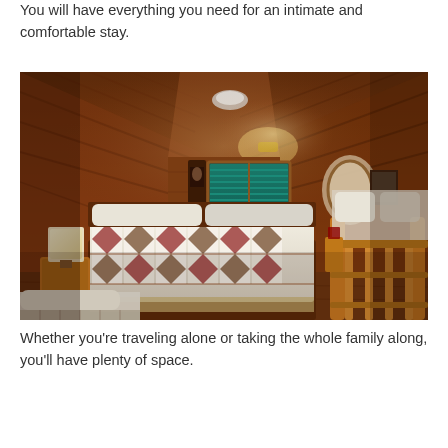You will have everything you need for an intimate and comfortable stay.
[Figure (photo): Interior of a cozy wooden cabin loft bedroom with angled wood-paneled ceiling and walls. A bed with a colorful patchwork quilt in red and white star pattern is in the center. A lamp sits on a nightstand to the left. A window with teal/green blinds and an air conditioning unit is visible in the background. A bunk bed or railing structure is on the right side. Another bed is partially visible in the foreground lower-left.]
Whether you’re traveling alone or taking the whole family along, you’ll have plenty of space.